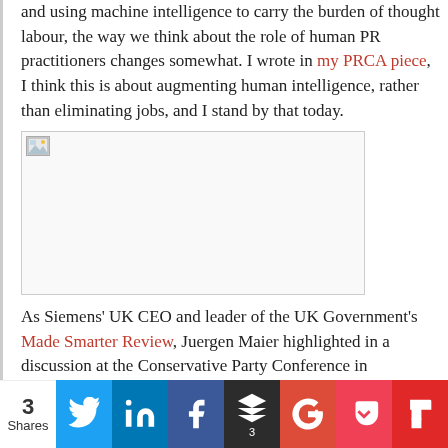and using machine intelligence to carry the burden of thought labour, the way we think about the role of human PR practitioners changes somewhat. I wrote in my PRCA piece, I think this is about augmenting human intelligence, rather than eliminating jobs, and I stand by that today.
[Figure (photo): Broken/missing image placeholder with small image icon in top-left corner]
As Siemens' UK CEO and leader of the UK Government's Made Smarter Review, Juergen Maier highlighted in a discussion at the Conservative Party Conference in
3 Shares | Social share buttons: Twitter, LinkedIn, Facebook, Buffer (3), Google+, Pocket, Flipboard